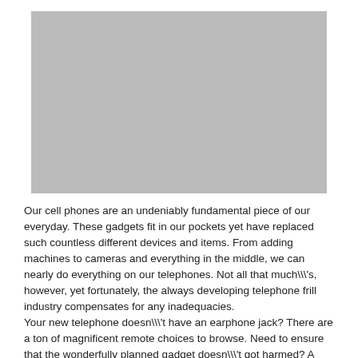[Figure (photo): A large gray placeholder image rectangle at the top of the page.]
Our cell phones are an undeniably fundamental piece of our everyday. These gadgets fit in our pockets yet have replaced such countless different devices and items. From adding machines to cameras and everything in the middle, we can nearly do everything on our telephones. Not all that much\\\'s, however, yet fortunately, the always developing telephone frill industry compensates for any inadequacies.
Your new telephone doesn\\\'t have an earphone jack? There are a ton of magnificent remote choices to browse. Need to ensure that the wonderfully planned gadget doesn\\\'t got harmed? A case or screen defender is